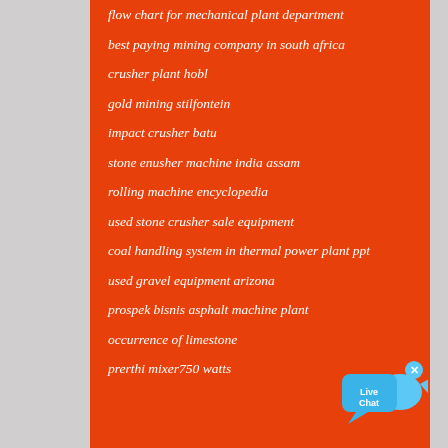flow chart for mechanical plant department
best paying mining company in south africa
crusher plant hobl
gold mining stilfontein
impact crusher batu
stone enusher machine india assam
rolling machine encyclopedia
used stone crusher sale equipment
coal handling system in thermal power plant ppt
used gravel equipment arizona
prospek bisnis asphalt machine plant
occurrence of limestone
prerthi mixer750 watts
[Figure (illustration): Live Chat speech bubble widget with blue bird icon and X close button]